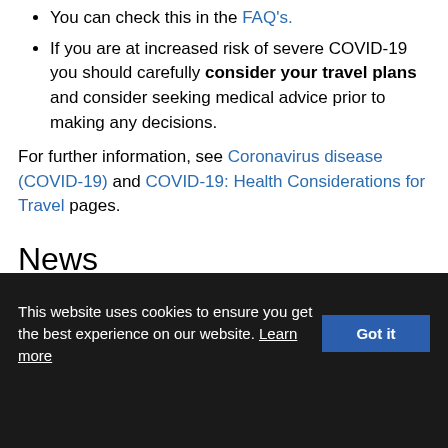You can check this in the FAQ's.
If you are at increased risk of severe COVID-19 you should carefully consider your travel plans and consider seeking medical advice prior to making any decisions.
For further information, see Coronavirus disease (COVID-19) and COVID-19: Health Considerations for Travel pages.
News
This website uses cookies to ensure you get the best experience on our website. Learn more